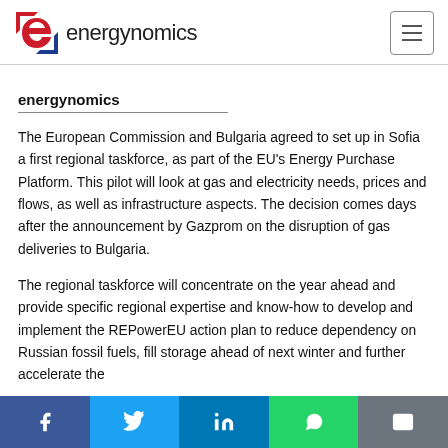energynomics
energynomics
The European Commission and Bulgaria agreed to set up in Sofia a first regional taskforce, as part of the EU's Energy Purchase Platform. This pilot will look at gas and electricity needs, prices and flows, as well as infrastructure aspects. The decision comes days after the announcement by Gazprom on the disruption of gas deliveries to Bulgaria.
The regional taskforce will concentrate on the year ahead and provide specific regional expertise and know-how to develop and implement the REPowerEU action plan to reduce dependency on Russian fossil fuels, fill storage ahead of next winter and further accelerate the
f  Twitter  in  WhatsApp  Email